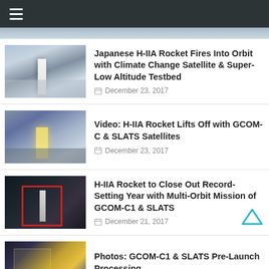≡
Japanese H-IIA Rocket Fires Into Orbit with Climate Change Satellite & Super-Low Altitude Testbed
December 23, 2017
Video: H-IIA Rocket Lifts Off with GCOM-C & SLATS Satellites
December 23, 2017
H-IIA Rocket to Close Out Record-Setting Year with Multi-Orbit Mission of GCOM-C1 & SLATS
December 21, 2017
Photos: GCOM-C1 & SLATS Pre-Launch Processing